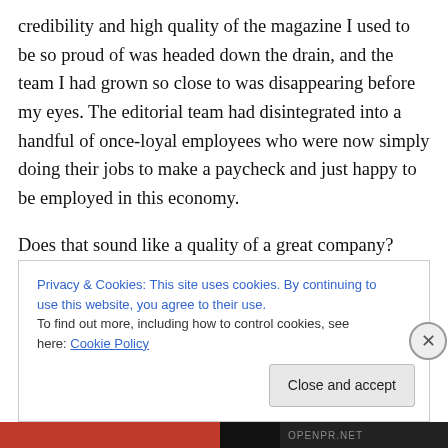credibility and high quality of the magazine I used to be so proud of was headed down the drain, and the team I had grown so close to was disappearing before my eyes. The editorial team had disintegrated into a handful of once-loyal employees who were now simply doing their jobs to make a paycheck and just happy to be employed in this economy.
Does that sound like a quality of a great company? According to this month's “Editor’s Note,” it sounds far from it. While I can’t speak for the people that are there
Privacy & Cookies: This site uses cookies. By continuing to use this website, you agree to their use.
To find out more, including how to control cookies, see here: Cookie Policy